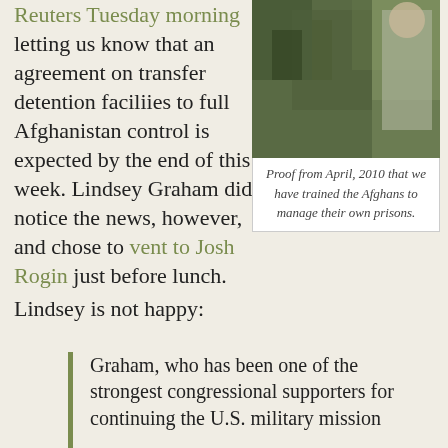Reuters Tuesday morning letting us know that an agreement on transfer detention faciliies to full Afghanistan control is expected by the end of this week. Lindsey Graham did notice the news, however, and chose to vent to Josh Rogin just before lunch.
[Figure (photo): Photo of military personnel in camouflage uniforms]
Proof from April, 2010 that we have trained the Afghans to manage their own prisons.
Lindsey is not happy:
Graham, who has been one of the strongest congressional supporters for continuing the U.S. military mission